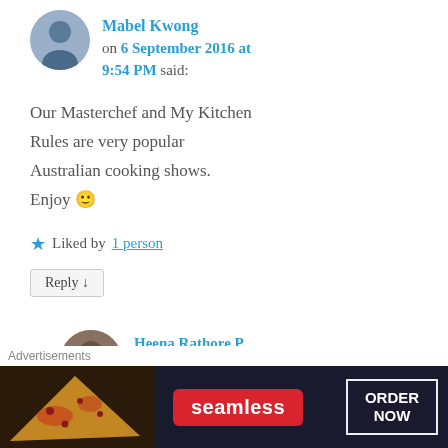Mabel Kwong on 6 September 2016 at 9:54 PM said:
Our Masterchef and My Kitchen Rules are very popular Australian cooking shows. Enjoy 🙂
★ Liked by 1 person
Reply ↓
Heena Rathore P. on 9 September 2016 at 1:47 AM
Advertisements
[Figure (other): Seamless food ordering advertisement banner with pizza image and ORDER NOW button]